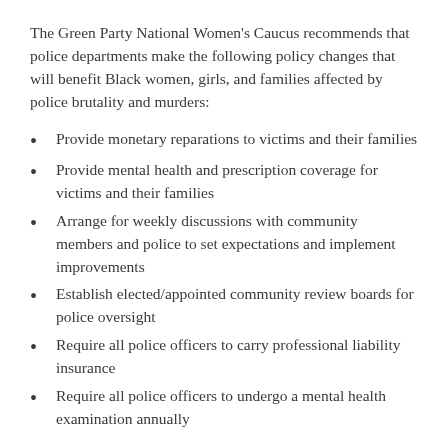The Green Party National Women's Caucus recommends that police departments make the following policy changes that will benefit Black women, girls, and families affected by police brutality and murders:
Provide monetary reparations to victims and their families
Provide mental health and prescription coverage for victims and their families
Arrange for weekly discussions with community members and police to set expectations and implement improvements
Establish elected/appointed community review boards for police oversight
Require all police officers to carry professional liability insurance
Require all police officers to undergo a mental health examination annually